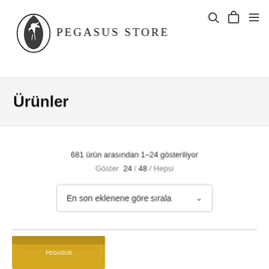[Figure (logo): Pegasus Store logo with horse and feather illustration and text PEGASUS STORE]
Ürünler
681 ürün arasından 1–24 gösteriliyor
Göster  24 / 48 / Hepsi
En son eklenene göre sırala
[Figure (photo): Partial product thumbnail visible at bottom of page]